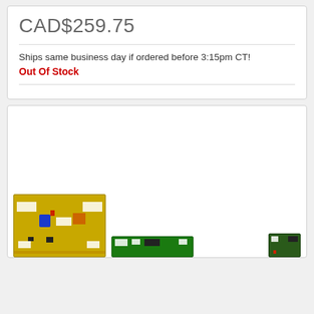CAD$259.75
Ships same business day if ordered before 3:15pm CT!
Out Of Stock
[Figure (photo): Electronic circuit boards / PCBs shown at the bottom of a product listing card. One large yellow-green PCB power board visible on the left, a smaller green PCB in the center-bottom, and a small green PCB component on the right.]